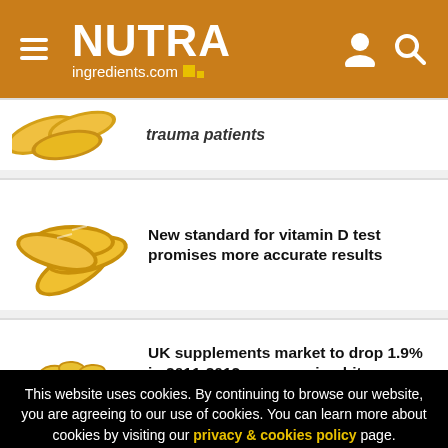NUTRAingredients.com
trauma patients
New standard for vitamin D test promises more accurate results
UK supplements market to drop 1.9% in 2011-2012 as recession bites
This website uses cookies. By continuing to browse our website, you are agreeing to our use of cookies. You can learn more about cookies by visiting our privacy & cookies policy page.